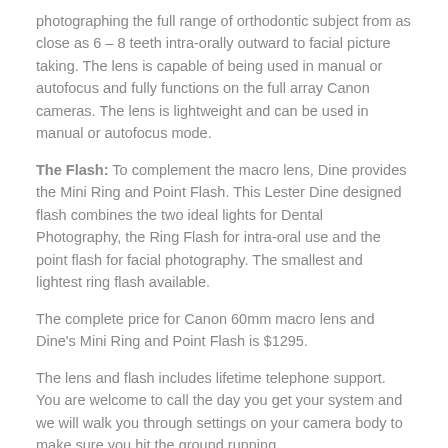photographing the full range of orthodontic subject from as close as 6 – 8 teeth intra-orally outward to facial picture taking. The lens is capable of being used in manual or autofocus and fully functions on the full array Canon cameras. The lens is lightweight and can be used in manual or autofocus mode.
The Flash: To complement the macro lens, Dine provides the Mini Ring and Point Flash. This Lester Dine designed flash combines the two ideal lights for Dental Photography, the Ring Flash for intra-oral use and the point flash for facial photography. The smallest and lightest ring flash available.
The complete price for Canon 60mm macro lens and Dine's Mini Ring and Point Flash is $1295.
The lens and flash includes lifetime telephone support. You are welcome to call the day you get your system and we will walk you through settings on your camera body to make sure you hit the ground running.